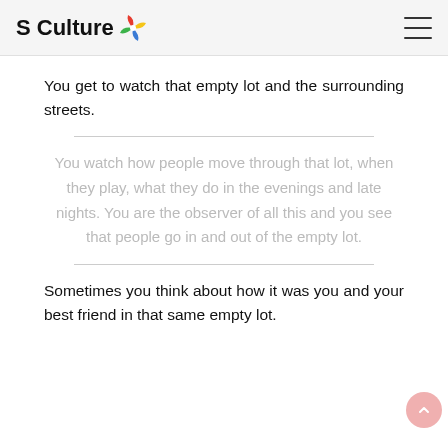S Culture
You get to watch that empty lot and the surrounding streets.
You watch how people move through that lot, when they play, what they do in the evenings and late nights. You are the observer of all this and you see that people go in and out of the empty lot.
Sometimes you think about how it was you and your best friend in that same empty lot.